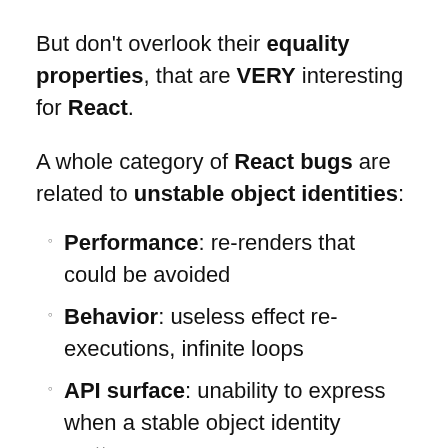But don't overlook their equality properties, that are VERY interesting for React.
A whole category of React bugs are related to unstable object identities:
Performance: re-renders that could be avoided
Behavior: useless effect re-executions, infinite loops
API surface: unability to express when a stable object identity matters
I will explain the basics of Records & Tuples, and